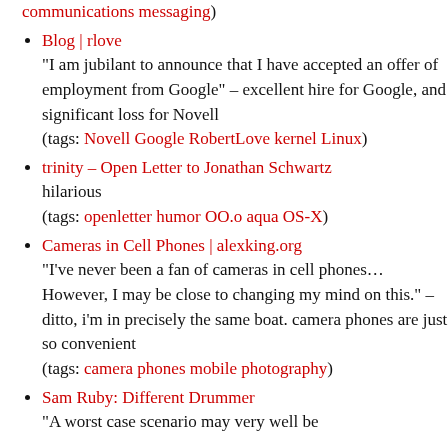communications messaging)
Blog | rlove
"I am jubilant to announce that I have accepted an offer of employment from Google" – excellent hire for Google, and significant loss for Novell
(tags: Novell Google RobertLove kernel Linux)
trinity – Open Letter to Jonathan Schwartz
hilarious
(tags: openletter humor OO.o aqua OS-X)
Cameras in Cell Phones | alexking.org
"I've never been a fan of cameras in cell phones…However, I may be close to changing my mind on this." – ditto, i'm in precisely the same boat. camera phones are just so convenient
(tags: camera phones mobile photography)
Sam Ruby: Different Drummer
"A worst case scenario may very well be